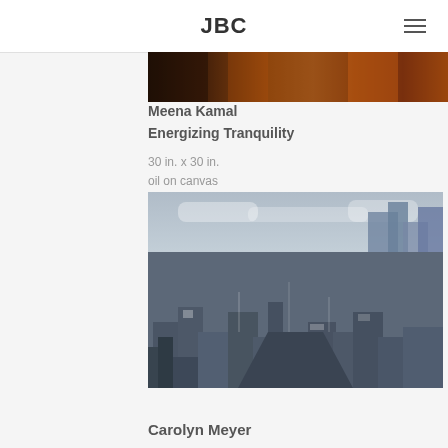JBC
[Figure (photo): Partial view of a painting showing orange and dark tones at the top of the artwork by Meena Kamal]
Meena Kamal
Energizing Tranquility
30 in. x 30 in.
oil on canvas
[Figure (photo): Painting by Carolyn Meyer depicting an aerial urban cityscape in blue-grey tones with buildings and rooftops]
Carolyn Meyer